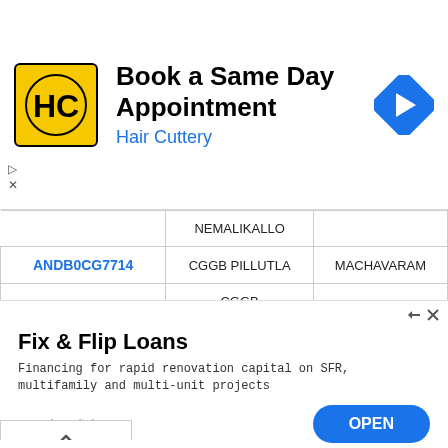[Figure (screenshot): Advertisement banner for Hair Cuttery: Book a Same Day Appointment. Contains HC logo and navigation arrow icon.]
|  | NEMALIKALLO |  |
| ANDB0CG7714 | CGGB PILLUTLA | MACHAVARAM |
| ANDB0CG7713 | CGGB CHERUKUPALLI | CHERUKUPALLI |
| ANDB0CG7712 | CGGB NADENDLA | NADENDLA |
| ANDB0CG7711 | CGGB PONNEKALLU | PONNEKALLU |
[Figure (screenshot): Advertisement for Fix & Flip Loans by genesiscapital.com. Financing for rapid renovation capital on SFR, multifamily and multi-unit projects. OPEN button.]